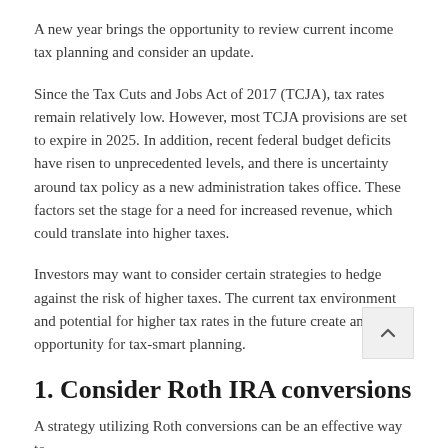A new year brings the opportunity to review current income tax planning and consider an update.
Since the Tax Cuts and Jobs Act of 2017 (TCJA), tax rates remain relatively low. However, most TCJA provisions are set to expire in 2025. In addition, recent federal budget deficits have risen to unprecedented levels, and there is uncertainty around tax policy as a new administration takes office. These factors set the stage for a need for increased revenue, which could translate into higher taxes.
Investors may want to consider certain strategies to hedge against the risk of higher taxes. The current tax environment and potential for higher tax rates in the future create an opportunity for tax-smart planning.
1. Consider Roth IRA conversions
A strategy utilizing Roth conversions can be an effective way to